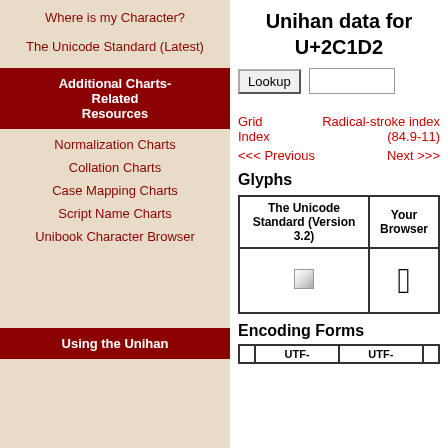Where is my Character?
The Unicode Standard (Latest)
Additional Charts-Related Resources
Normalization Charts
Collation Charts
Case Mapping Charts
Script Name Charts
Unibook Character Browser
Using the Unihan
Unihan data for U+2C1D2
Grid Index   Radical-stroke index (84.9-11)
<<< Previous   Next >>>
Glyphs
| The Unicode Standard (Version 3.2) | Your Browser |
| --- | --- |
| [image] | &#x2C1D2; |
Encoding Forms
|  | UTF- | UTF- |  |
| --- | --- | --- | --- |